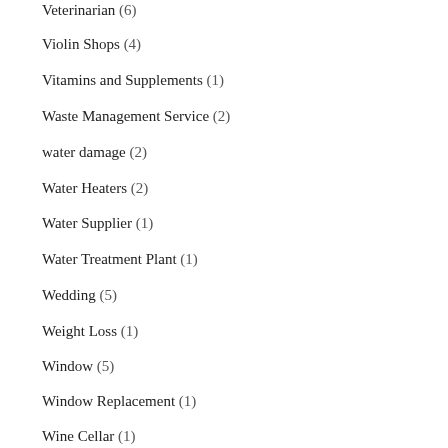Veterinarian (6)
Violin Shops (4)
Vitamins and Supplements (1)
Waste Management Service (2)
water damage (2)
Water Heaters (2)
Water Supplier (1)
Water Treatment Plant (1)
Wedding (5)
Weight Loss (1)
Window (5)
Window Replacement (1)
Wine Cellar (1)